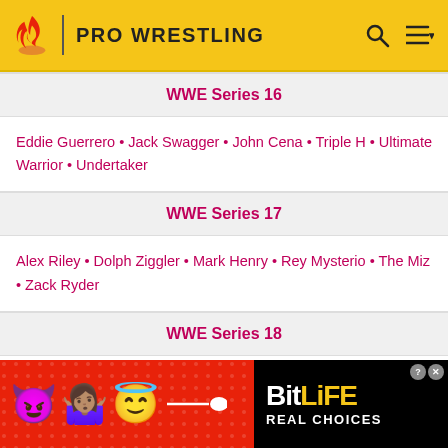PRO WRESTLING
WWE Series 16
Eddie Guerrero • Jack Swagger • John Cena • Triple H • Ultimate Warrior • Undertaker
WWE Series 17
Alex Riley • Dolph Ziggler • Mark Henry • Rey Mysterio • The Miz • Zack Ryder
WWE Series 18
CM Punk • Cody Rhodes • Hunico • Kelly Kelly • John Cena • Sin Cara
[Figure (other): BitLife advertisement banner with emoji characters (devil, woman shrugging, angel) on red background with BitLife logo and 'REAL CHOICES' text]